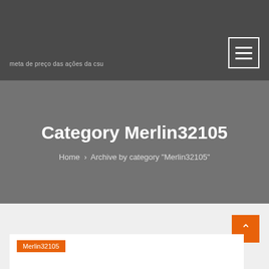meta de preço das ações da csu
Category Merlin32105
Home › Archive by category "Merlin32105"
Merlin32105